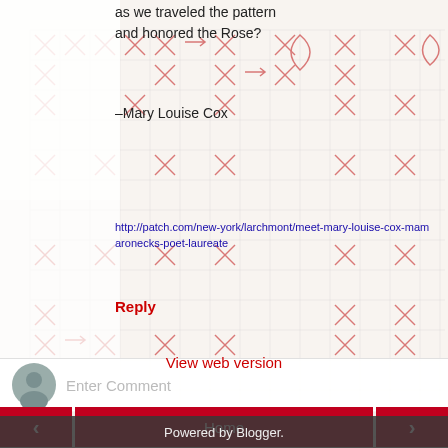as we traveled the pattern
and honored the Rose?
–Mary Louise Cox
http://patch.com/new-york/larchmont/meet-mary-louise-cox-mamaronecks-poet-laureate
Reply
[Figure (other): Comment input area with grey avatar icon and 'Enter Comment' placeholder text]
[Figure (other): Handwritten grid/graph paper artwork background with red pen marks, arrows, and symbols]
Home
View web version
Powered by Blogger.